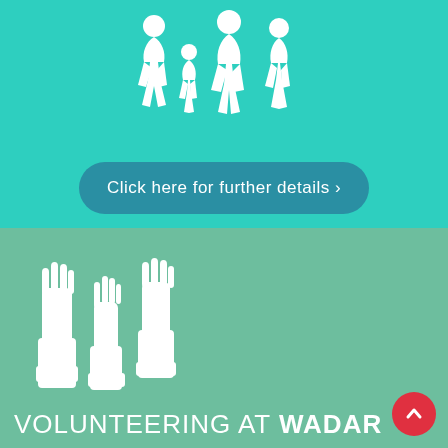[Figure (illustration): White silhouette icons of a family walking: adult woman, small child, adult man, and older child/teen on teal background]
Click here for further details >
[Figure (illustration): Three white raised hand/glove icons on green background representing volunteering]
VOLUNTEERING AT WADARS